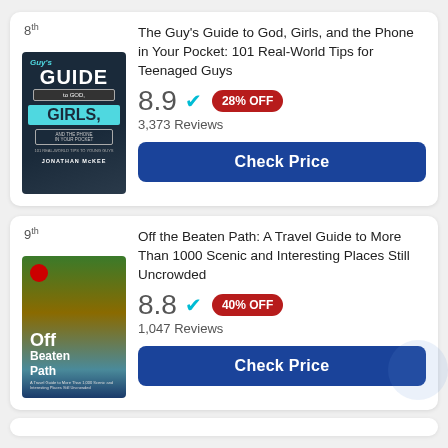[Figure (other): Book listing card #8: The Guy's Guide to God, Girls, and the Phone in Your Pocket with cover image, rating 8.9, 28% OFF badge, 3,373 Reviews, and Check Price button]
[Figure (other): Book listing card #9: Off the Beaten Path: A Travel Guide to More Than 1000 Scenic and Interesting Places Still Uncrowded with cover image, rating 8.8, 40% OFF badge, 1,047 Reviews, and Check Price button]